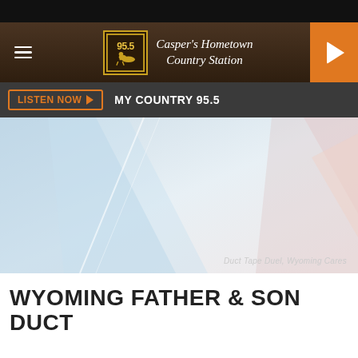[Figure (screenshot): My Country 95.5 radio station website screenshot showing navigation header with hamburger menu, station logo, station name 'Casper's Hometown Country Station', orange play button, Listen Now bar, and a placeholder image with caption 'Duct Tape Duel, Wyoming Cares']
WYOMING FATHER & SON DUCT